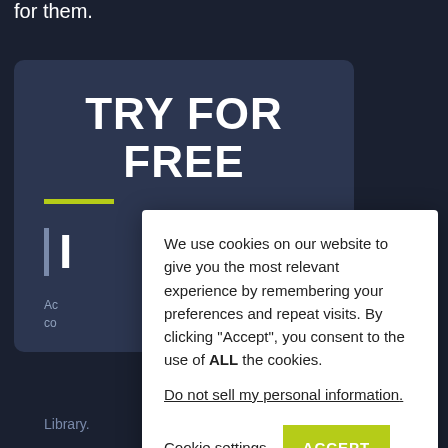for them.
TRY FOR FREE
We use cookies on our website to give you the most relevant experience by remembering your preferences and repeat visits. By clicking "Accept", you consent to the use of ALL the cookies.
Do not sell my personal information.
Cookie settings
ACCEPT
Library.